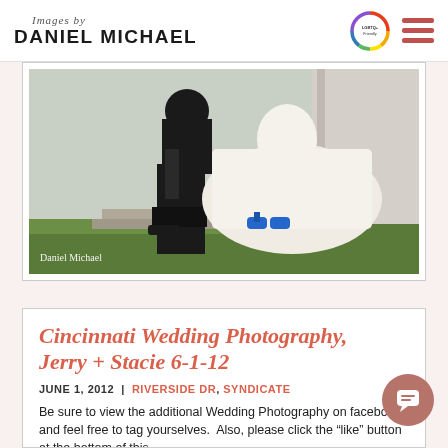Images by DANIEL MICHAEL
[Figure (photo): Wedding couple sitting on steps outside a classical building. The bride wears a white dress and blue heels; the groom is in a black suit. Watermark reads 'Daniel Michael'.]
Cincinnati Wedding Photography, Jerry + Stacie 6-1-12
JUNE 1, 2012 | RIVERSIDE DR, SYNDICATE
Be sure to view the additional Wedding Photography on facebook and feel free to tag yourselves.  Also, please click the "like" button at the bottom of this